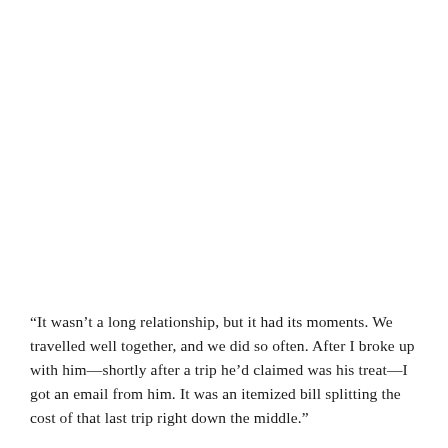“It wasn’t a long relationship, but it had its moments. We travelled well together, and we did so often. After I broke up with him—shortly after a trip he’d claimed was his treat—I got an email from him. It was an itemized bill splitting the cost of that last trip right down the middle.”